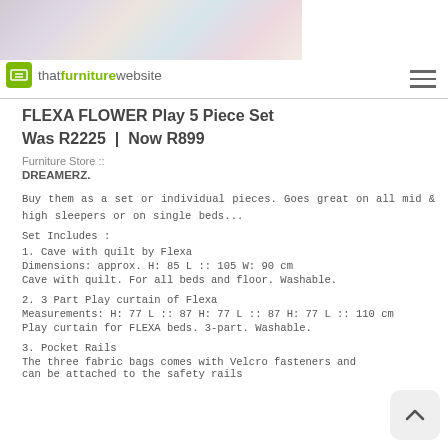[Figure (photo): Website header banner with colorful product images in the background]
that furniture website
FLEXA FLOWER Play 5 Piece Set
Was R2225 | Now R899
Furniture Store ::
DREAMERZ.
Buy them as a set or individual pieces. Goes great on all mid & high sleepers or on single beds...
Set Includes :
1. Cave with quilt by Flexa
Dimensions: approx. H: 85 L :: 105 W: 90 cm
Cave with quilt. For all beds and floor. Washable.
2. 3 Part Play curtain of Flexa
Measurements: H: 77 L :: 87 H: 77 L :: 87 H: 77 L :: 110 cm
Play curtain for FLEXA beds. 3-part. Washable.
3. Pocket Rails
The three fabric bags comes with Velcro fasteners and can be attached to the safety rails